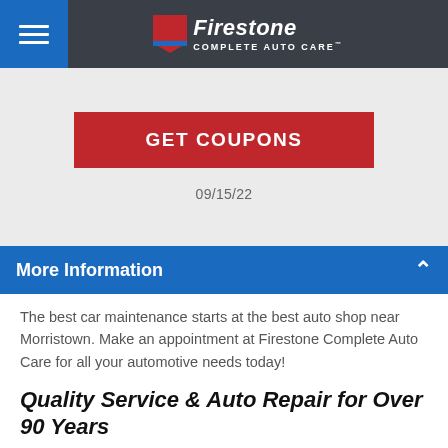[Figure (logo): Firestone Complete Auto Care logo with hamburger menu icon on blue background]
GET COUPONS
09/15/22
More Information
The best car maintenance starts at the best auto shop near Morristown. Make an appointment at Firestone Complete Auto Care for all your automotive needs today!
Quality Service & Auto Repair for Over 90 Years
Transmission trouble, check engine light, or broken A/C, our technicians will fix it. Visit your nearby Firestone Complete Auto Care for car troubles both big and small. You can trust our knowledgeable technicians to deliver professional auto services